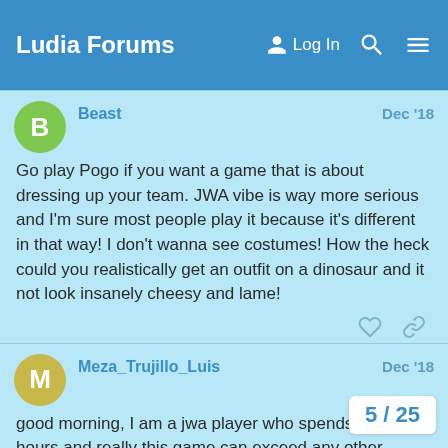Ludia Forums  Log In
Beast · Dec '18
Go play Pogo if you want a game that is about dressing up your team. JWA vibe is way more serious and I'm sure most people play it because it's different in that way! I don't wanna see costumes! How the heck could you realistically get an outfit on a dinosaur and it not look insanely cheesy and lame!
Meza_Trujillo_Luis · Dec '18
good morning, I am a jwa player who spends many hours and really this game can exceed any other, lac but it is very entertaining … An idea that I t
5 / 25